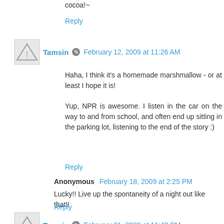cocoa!~
Reply
Tamsin  February 12, 2009 at 11:26 AM
Haha, I think it's a homemade marshmallow - or at least I hope it is!
Yup, NPR is awesome. I listen in the car on the way to and from school, and often end up sitting in the parking lot, listening to the end of the story :)
Reply
Anonymous  February 18, 2009 at 2:25 PM
Lucky!! Live up the spontaneity of a night out like that!!
Reply
Tamsin  February 21, 2009 at 11:43 PM